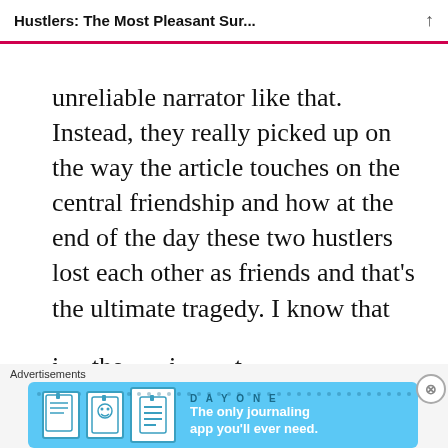Hustlers: The Most Pleasant Sur...
unreliable narrator like that. Instead, they really picked up on the way the article touches on the central friendship and how at the end of the day these two hustlers lost each other as friends and that's the ultimate tragedy. I know that
Advertisements
[Figure (infographic): Day One journaling app advertisement: blue banner with app icons and slogan 'The only journaling app you'll ever need.']